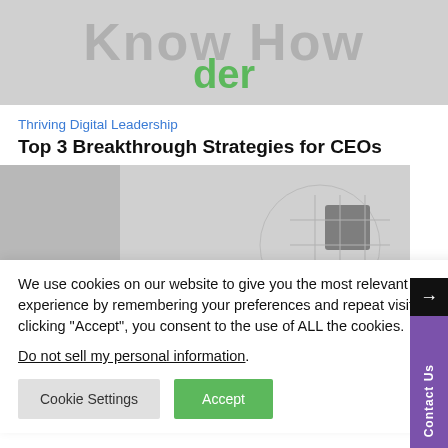[Figure (photo): Top banner image with text 'Know How' in large grey letters and 'der' in green letters below, on a grey background]
Thriving Digital Leadership
Top 3 Breakthrough Strategies for CEOs
[Figure (photo): Grey image showing a puzzle with one missing black piece, suggesting problem-solving or strategy concept]
We use cookies on our website to give you the most relevant experience by remembering your preferences and repeat visits. By clicking “Accept”, you consent to the use of ALL the cookies. Do not sell my personal information.